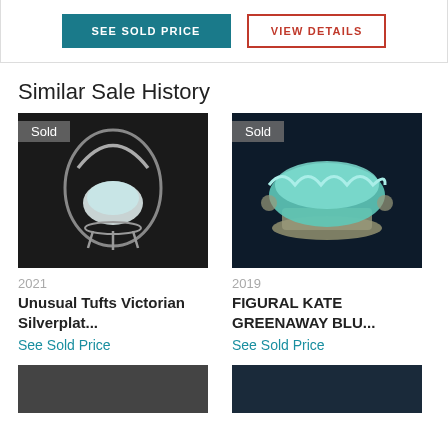SEE SOLD PRICE | VIEW DETAILS
Similar Sale History
[Figure (photo): Antique Victorian silverplate basket/holder with opalescent glass insert, dark background. Sold badge visible. Year: 2021.]
2021
Unusual Tufts Victorian Silverplat...
See Sold Price
[Figure (photo): Figural silverplate stand holding a turquoise/green ruffled glass bowl, dark navy background. Sold badge visible. Year: 2019.]
2019
FIGURAL KATE GREENAWAY BLU...
See Sold Price
[Figure (photo): Partial view of another antique item, bottom of page, left side.]
[Figure (photo): Partial view of another antique item, bottom of page, right side.]